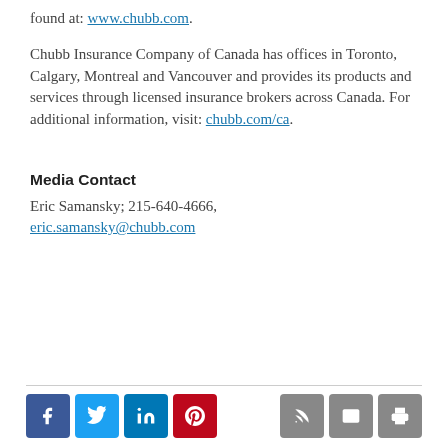found at: www.chubb.com.
Chubb Insurance Company of Canada has offices in Toronto, Calgary, Montreal and Vancouver and provides its products and services through licensed insurance brokers across Canada. For additional information, visit: chubb.com/ca.
Media Contact
Eric Samansky; 215-640-4666,
eric.samansky@chubb.com
[Figure (other): Social media icon buttons: Facebook, Twitter, LinkedIn, Pinterest on the left; RSS, mail, print on the right]